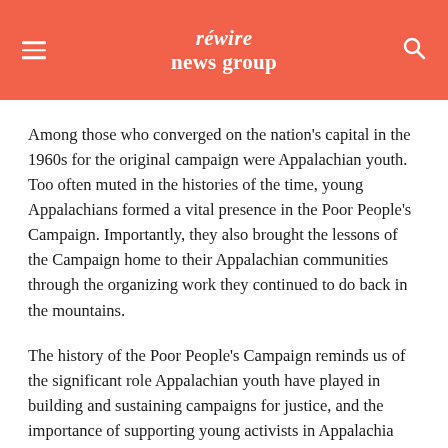rewire news group
Among those who converged on the nation’s capital in the 1960s for the original campaign were Appalachian youth. Too often muted in the histories of the time, young Appalachians formed a vital presence in the Poor People’s Campaign. Importantly, they also brought the lessons of the Campaign home to their Appalachian communities through the organizing work they continued to do back in the mountains.
The history of the Poor People’s Campaign reminds us of the significant role Appalachian youth have played in building and sustaining campaigns for justice, and the importance of supporting young activists in Appalachia today.